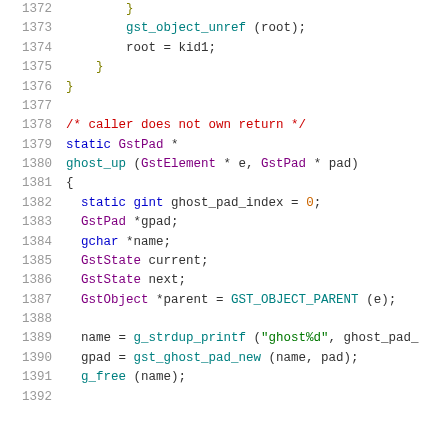Code listing lines 1372–1392 showing C source code for ghost_up function in GStreamer
[Figure (screenshot): Source code snippet showing C function ghost_up with line numbers 1372-1392, including variable declarations for GstPad, gchar, GstState, GstObject, and function calls to g_strdup_printf, gst_ghost_pad_new, g_free]